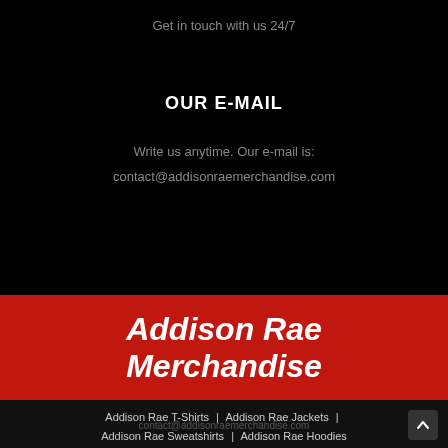Get in touch with us 24/7
OUR E-MAIL
Write us anytime. Our e-mail is:
contact@addisonraemerchandise.com
Addison Rae Merchandise
Addison Rae T-Shirts | Addison Rae Jackets | Addison Rae Sweatshirts | Addison Rae Hoodies
contact@addisonraemerchandise.com